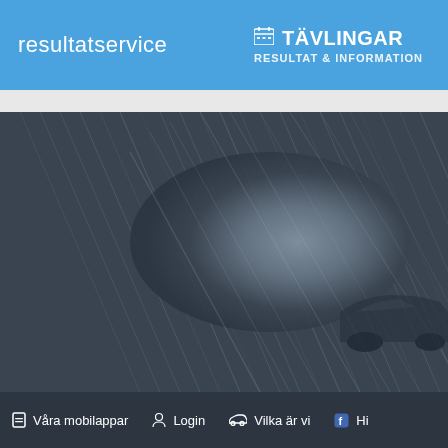resultatservice | TÄVLINGAR RESULTAT & INFORMATION | KÖ & ANN
[Figure (photo): Dark monochrome hero image of a racing car, predominantly dark grey tones with light streak effects suggesting motion]
Våra mobilappar | Login | Vilka är vi | Hi